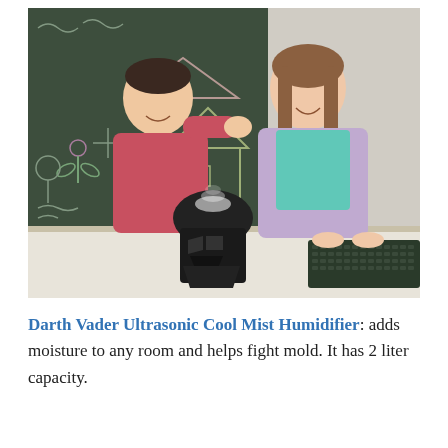[Figure (photo): Two children (a boy in a pink shirt and a girl in a teal shirt with lavender cardigan) standing at a desk in front of a chalkboard, looking at a Darth Vader-shaped humidifier on the desk. The boy is holding his hand over the mist coming from the humidifier.]
Darth Vader Ultrasonic Cool Mist Humidifier: adds moisture to any room and helps fight mold. It has 2 liter capacity.